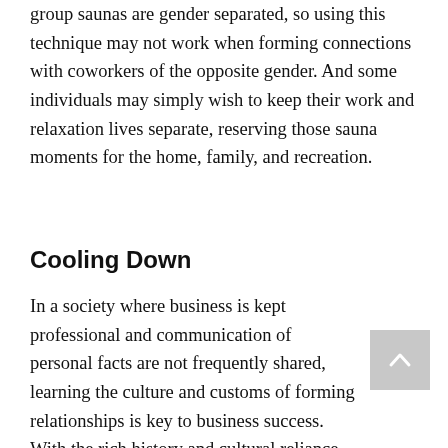group saunas are gender separated, so using this technique may not work when forming connections with coworkers of the opposite gender. And some individuals may simply wish to keep their work and relaxation lives separate, reserving those sauna moments for the home, family, and recreation.
Cooling Down
In a society where business is kept professional and communication of personal facts are not frequently shared, learning the culture and customs of forming relationships is key to business success. With the rich history and cultural reliance on saunas